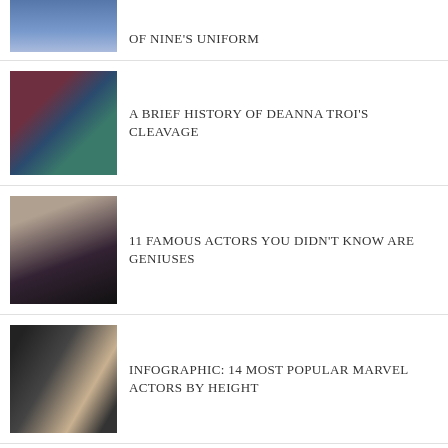[Figure (photo): Partial thumbnail of a person in a Star Trek-style blue uniform]
OF NINE'S UNIFORM
[Figure (photo): Two people in Star Trek uniforms - a man in red/black and a woman in teal]
A BRIEF HISTORY OF DEANNA TROI'S CLEAVAGE
[Figure (photo): Blonde woman in a black halter dress]
11 FAMOUS ACTORS YOU DIDN'T KNOW ARE GENIUSES
[Figure (photo): Group of three people at a formal event - two men in tuxedos and a woman in black]
INFOGRAPHIC: 14 MOST POPULAR MARVEL ACTORS BY HEIGHT